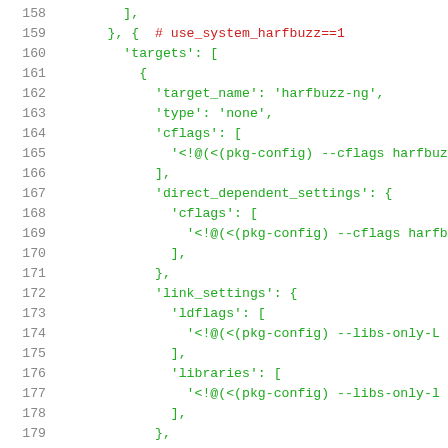Source code listing lines 158-178, Python/GYP configuration file with targets for harfbuzz-ng using system harfbuzz.